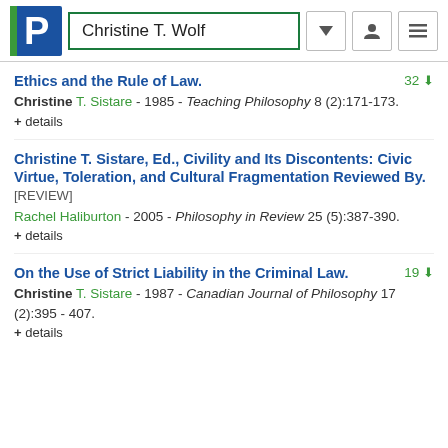Christine T. Wolf
Ethics and the Rule of Law.
Christine T. Sistare - 1985 - Teaching Philosophy 8 (2):171-173.
+ details
Christine T. Sistare, Ed., Civility and Its Discontents: Civic Virtue, Toleration, and Cultural Fragmentation Reviewed By. [REVIEW]
Rachel Haliburton - 2005 - Philosophy in Review 25 (5):387-390.
+ details
On the Use of Strict Liability in the Criminal Law.
Christine T. Sistare - 1987 - Canadian Journal of Philosophy 17 (2):395 - 407.
+ details